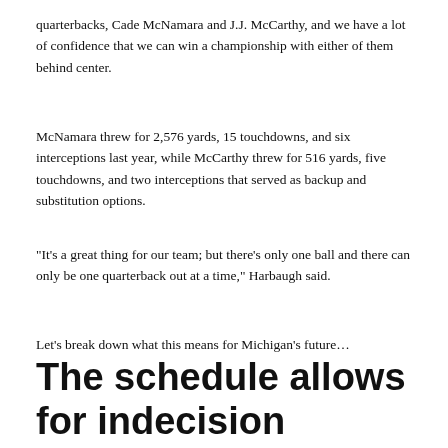quarterbacks, Cade McNamara and J.J. McCarthy, and we have a lot of confidence that we can win a championship with either of them behind center.
McNamara threw for 2,576 yards, 15 touchdowns, and six interceptions last year, while McCarthy threw for 516 yards, five touchdowns, and two interceptions that served as backup and substitution options.
“It’s a great thing for our team; but there’s only one ball and there can only be one quarterback out at a time,” Harbaugh said.
Let’s break down what this means for Michigan’s future…
The schedule allows for indecision
The old adage goes that if you have two quarterbacks, you actually have none. But that is not necessarily the case here.